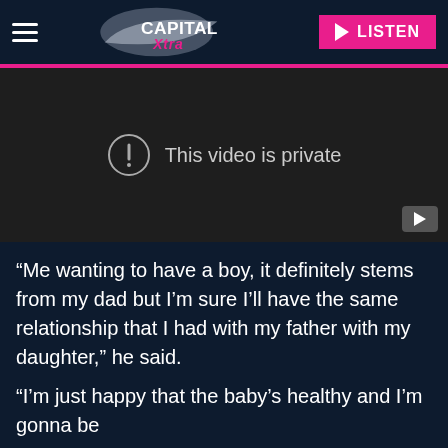[Figure (logo): Capital Xtra radio logo with hamburger menu icon on dark navy background]
[Figure (screenshot): Embedded video player showing 'This video is private' error message with exclamation icon on dark background, YouTube icon in bottom right corner]
“Me wanting to have a boy, it definitely stems from my dad but I’m sure I’ll have the same relationship that I had with my father with my daughter,” he said.
“I’m just happy that the baby’s healthy and I’m gonna be